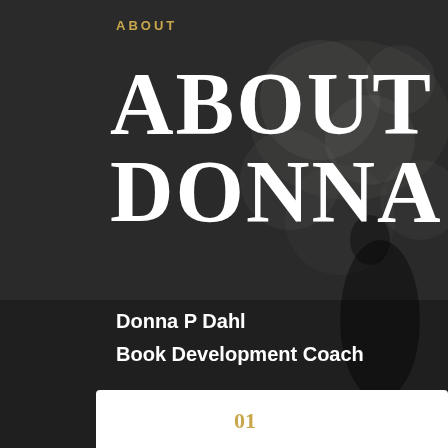[Figure (photo): Dark background photo with blurred bokeh lights and a silhouetted figure, used as a full-page background image.]
ABOUT
ABOUT DONNA
Donna P Dahl
Book Development Coach
01